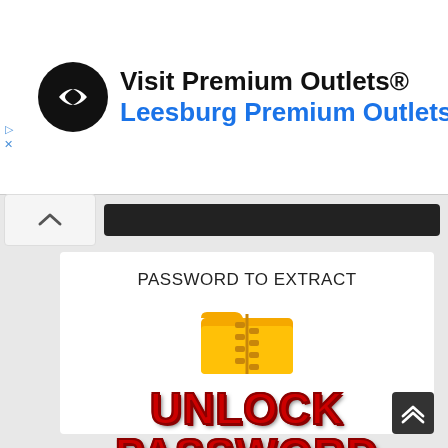[Figure (screenshot): Advertisement banner for Visit Premium Outlets® with circular logo, navigation arrow icon, title 'Visit Premium Outlets®' and subtitle 'Leesburg Premium Outlets' in blue]
[Figure (screenshot): Browser toolbar with chevron up button and dark address bar]
[Figure (illustration): Yellow zip folder icon with zipper graphic]
PASSWORD TO EXTRACT
UNLOCK PASSWORD
PASS EXTRACT: weashare.com